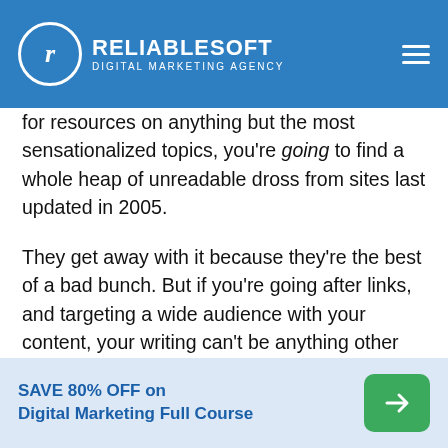RELIABLESOFT DIGITAL MARKETING AGENCY
for resources on anything but the most sensationalized topics, you're going to find a whole heap of unreadable dross from sites last updated in 2005.
They get away with it because they're the best of a bad bunch. But if you're going after links, and targeting a wide audience with your content, your writing can't be anything other than interesting, unique, and actionable.
To make an article interesting, it's mostly about the
SAVE 80% OFF on Digital Marketing Full Course